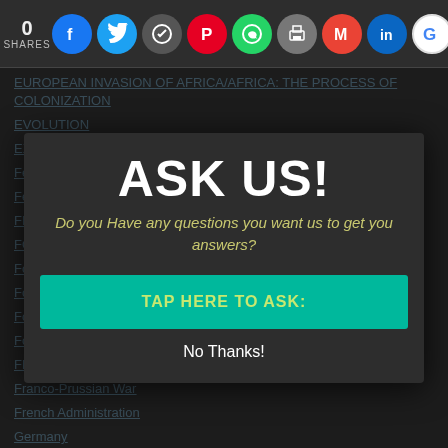0 SHARES — social share icons: Facebook, Twitter, Message, Pinterest, WhatsApp, Print, Gmail, LinkedIn, Google
EUROPEAN INVASION OF AFRICA/AFRICA: THE PROCESS OF COLONIZATION
EVOLUTION
EXODUS
Federal Government
Federal System
FIRST AFRICAN APPOINTMENTS
FORM 1
Form 1 Level
Form 3
Form 4
Forms Of Governance
FRANCE
Franco-Prussian War
French Administration
Germany
[Figure (infographic): Modal popup overlay: Title 'ASK US!' in large white bold text. Subtitle 'Do you Have any questions you want us to get you answers?' in italic yellow-green text. A teal button labeled 'TAP HERE TO ASK:'. Below: 'No Thanks!' in white text.]